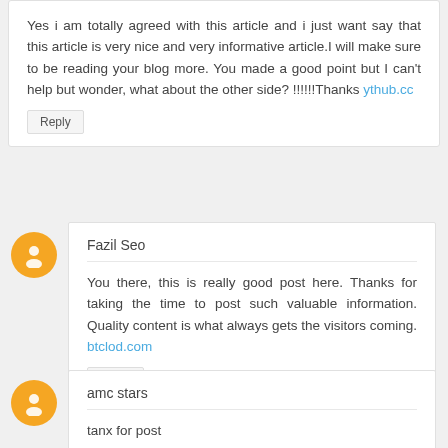Yes i am totally agreed with this article and i just want say that this article is very nice and very informative article.I will make sure to be reading your blog more. You made a good point but I can't help but wonder, what about the other side? !!!!!!Thanks ythub.cc
Reply
Fazil Seo
You there, this is really good post here. Thanks for taking the time to post such valuable information. Quality content is what always gets the visitors coming. btclod.com
Reply
amc stars
tanx for post